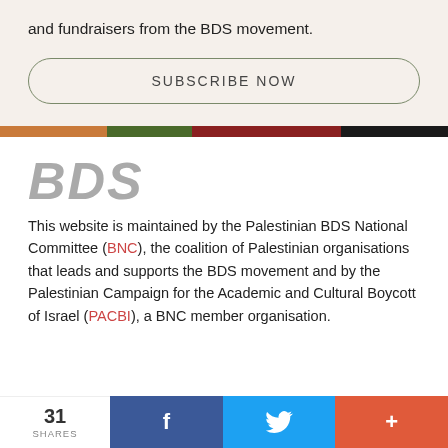and fundraisers from the BDS movement.
SUBSCRIBE NOW
[Figure (infographic): Horizontal color bar divided into four segments: orange, dark green, dark red, and black.]
BDS
This website is maintained by the Palestinian BDS National Committee (BNC), the coalition of Palestinian organisations that leads and supports the BDS movement and by the Palestinian Campaign for the Academic and Cultural Boycott of Israel (PACBI), a BNC member organisation.
31 SHARES  f  [twitter bird]  +